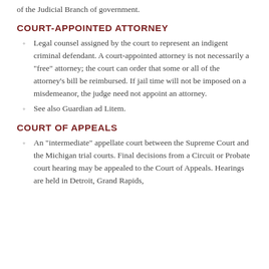of the Judicial Branch of government.
COURT-APPOINTED ATTORNEY
Legal counsel assigned by the court to represent an indigent criminal defendant. A court-appointed attorney is not necessarily a "free" attorney; the court can order that some or all of the attorney's bill be reimbursed. If jail time will not be imposed on a misdemeanor, the judge need not appoint an attorney.
See also Guardian ad Litem.
COURT OF APPEALS
An "intermediate" appellate court between the Supreme Court and the Michigan trial courts. Final decisions from a Circuit or Probate court hearing may be appealed to the Court of Appeals. Hearings are held in Detroit, Grand Rapids,